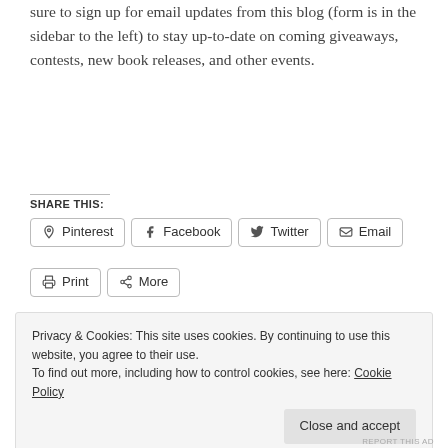sure to sign up for email updates from this blog (form is in the sidebar to the left) to stay up-to-date on coming giveaways, contests, new book releases, and other events.
SHARE THIS:
Pinterest  Facebook  Twitter  Email  Print  More
Privacy & Cookies: This site uses cookies. By continuing to use this website, you agree to their use.
To find out more, including how to control cookies, see here: Cookie Policy
Close and accept
REPORT THIS AD